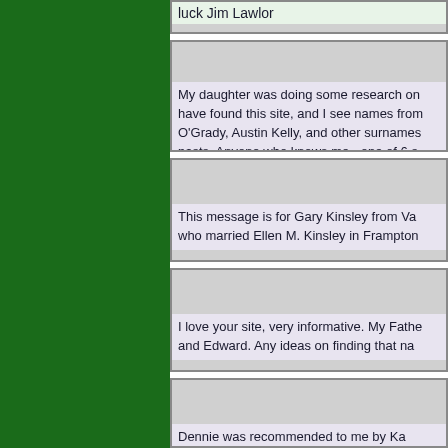luck Jim Lawlor
My daughter was doing some research on have found this site, and I see names from O'Grady, Austin Kelly, and other surnames pasts. Anyone who knows me - one of 6 s make the 150th St. Malachie celebration -
This message is for Gary Kinsley from Va who married Ellen M. Kinsley in Frampton
I love your site, very informative. My Fathe and Edward. Any ideas on finding that na
Dennie was recommended to me by Ka